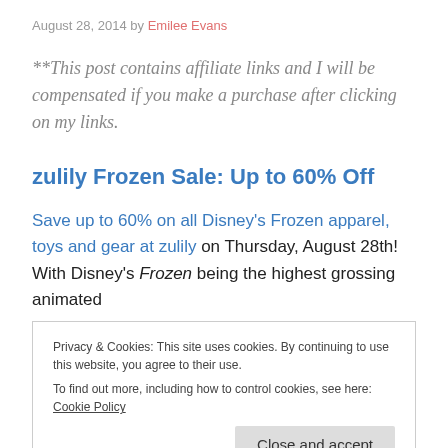August 28, 2014 by Emilee Evans
**This post contains affiliate links and I will be compensated if you make a purchase after clicking on my links.
zulily Frozen Sale: Up to 60% Off
Save up to 60% on all Disney's Frozen apparel, toys and gear at zulily on Thursday, August 28th! With Disney's Frozen being the highest grossing animated
Privacy & Cookies: This site uses cookies. By continuing to use this website, you agree to their use.
To find out more, including how to control cookies, see here: Cookie Policy
Close and accept
tutorials on how to create the magical updos and